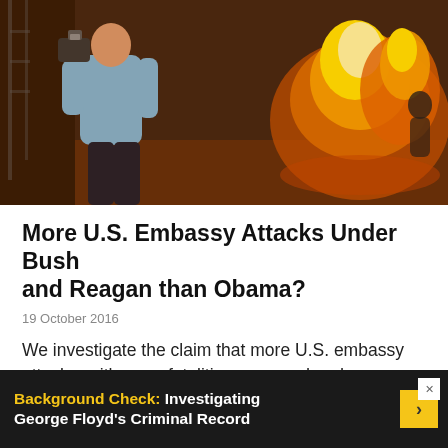[Figure (photo): A person in a light blue shirt holding a camera, with a large fire burning in the background at night]
More U.S. Embassy Attacks Under Bush and Reagan than Obama?
19 October 2016
We investigate the claim that more U.S. embassy attacks, with more fatalities, occurred under George...
Fact Check
Next
Background Check:  Investigating George Floyd's Criminal Record